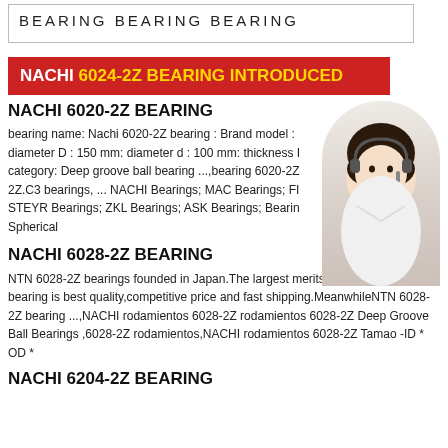BEARING  BEARING  BEARING
NACHI 6024-2Z BEARING INTRODUCED
NACHI 6020-2Z BEARING
bearing name: Nachi 6020-2Z bearing : Brand model : diameter D : 150 mm: diameter d : 100 mm: thickness I category: Deep groove ball bearing ...,bearing 6020-2Z 2Z.C3 bearings, ... NACHI Bearings; MAC Bearings; FI STEYR Bearings; ZKL Bearings; ASK Bearings; Bearin Spherical
[Figure (photo): Customer service representative woman with headset]
NACHI 6028-2Z BEARING
online
NTN 6028-2Z bearings founded in Japan.The largest merits of our NTN 6028-2Z bearing is best quality,competitive price and fast shipping.MeanwhileNTN 6028-2Z bearing ...,NACHI rodamientos 6028-2Z rodamientos 6028-2Z Deep Groove Ball Bearings ,6028-2Z rodamientos,NACHI rodamientos 6028-2Z Tamao -ID * OD *
NACHI 6204-2Z BEARING